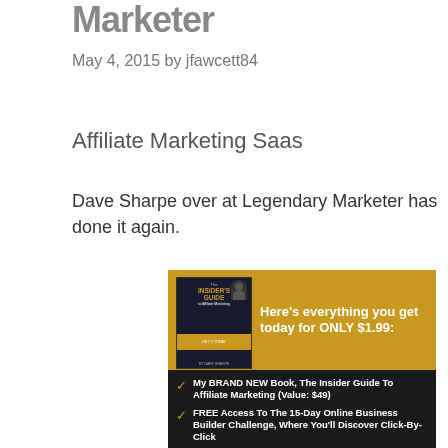Marketer
May 4, 2015 by jfawcett84
Affiliate Marketing Saas
Dave Sharpe over at Legendary Marketer has done it again.
[Figure (illustration): Advertisement banner for The Insider's Guide to Affiliate Marketing by Dave Sharpe. Gold top section shows the book cover and text 'Here's everything you get today for ONLY $1.99:'. Black bottom section lists benefits with gold checkmarks: 'My BRAND NEW Book, The Insider Guide To Affiliate Marketing (Value: $49)' and 'FREE Access To The 15-Day Online Business Builder Challenge, Where You'll Discover Click-By-Click']